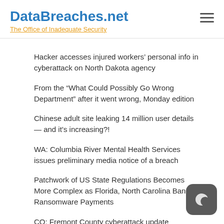DataBreaches.net
The Office of Inadequate Security
Hacker accesses injured workers’ personal info in cyberattack on North Dakota agency
From the “What Could Possibly Go Wrong Department” after it went wrong, Monday edition
Chinese adult site leaking 14 million user details — and it’s increasing?!
WA: Columbia River Mental Health Services issues preliminary media notice of a breach
Patchwork of US State Regulations Becomes More Complex as Florida, North Carolina Ban Ransomware Payments
CO: Fremont County cyberattack update